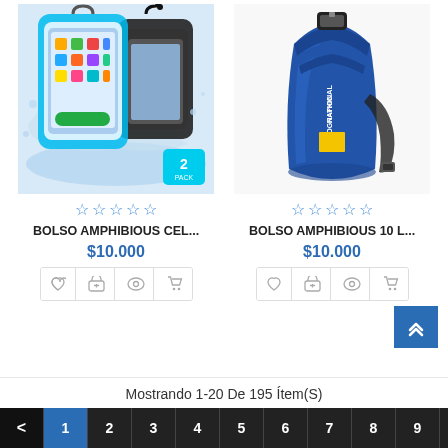[Figure (photo): Two waterproof phone pouches (blue and black) with smartphones inside, splashing in water. A cyan '2 PACK' badge in the corner.]
[Figure (photo): Blue National Geographic 10L dry bag with black strap against white background.]
☆☆☆☆☆
BOLSO AMPHIBIOUS CEL...
$10.000
☆☆☆☆☆
BOLSO AMPHIBIOUS 10 L...
$10.000
Mostrando 1-20 De 195 Ítem(S)
< 1 2 3 4 5 6 7 8 9